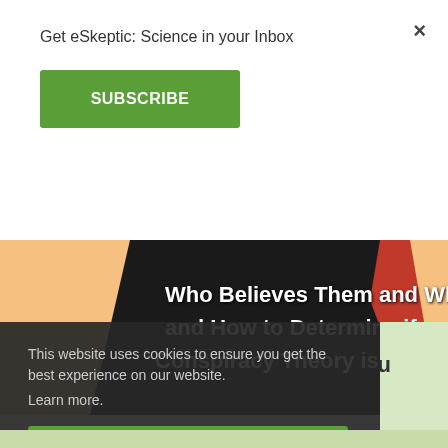Get eSkeptic: Science in your Inbox
SUBSCRIBE
×
[Figure (illustration): Book cover image showing a dark silhouetted figure in a black coat with a red tie against an orange/tan background. White bold text reads: 'Who Believes Them and Why, and How to Determine if a Conspiracy Theory is True or False']
This website uses cookies to ensure you get the best experience on our website.
Learn more.
GOT IT!
an you
eve in
true